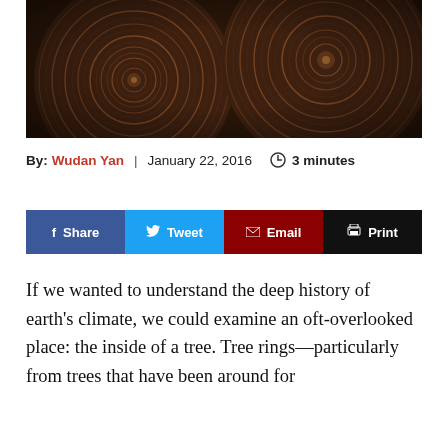[Figure (photo): Close-up photograph of cross-sections of tree logs showing concentric tree rings in brown wood tones]
By: Wudan Yan | January 22, 2016 🕐 3 minutes
f Share  🐦 Tweet  ✉ Email  🖨 Print
If we wanted to understand the deep history of earth's climate, we could examine an oft-overlooked place: the inside of a tree. Tree rings—particularly from trees that have been around for